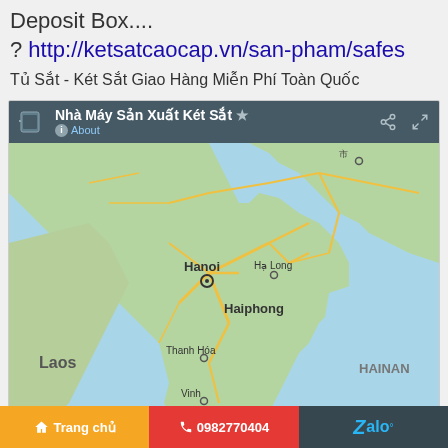Deposit Box....
? http://ketsatcaocap.vn/san-pham/safes
Tủ Sắt - Két Sắt Giao Hàng Miễn Phí Toàn Quốc
[Figure (screenshot): Google Maps screenshot showing northern Vietnam region with Hanoi, Ha Long, Haiphong, Thanh Hoa, Vinh labeled, with map header showing 'Nhà Máy Sản Xuất Két Sắt' and About link]
🏠 Trang chủ   📞 0982770404   Zalo